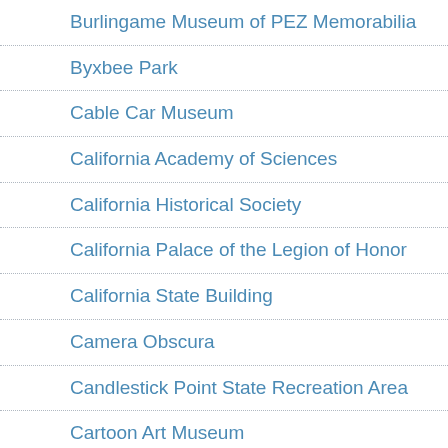Burlingame Museum of PEZ Memorabilia
Byxbee Park
Cable Car Museum
California Academy of Sciences
California Historical Society
California Palace of the Legion of Honor
California State Building
Camera Obscura
Candlestick Point State Recreation Area
Cartoon Art Museum
Castro Street
Castro Theatre
Cathedral of Saint Mary of the Assumption